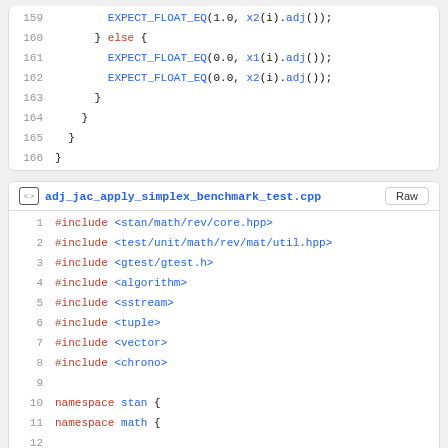Code snippet lines 159-166: closing braces with EXPECT_FLOAT_EQ calls
File header: adj_jac_apply_simplex_benchmark_test.cpp
Code lines 1-12: #include directives and namespace declarations